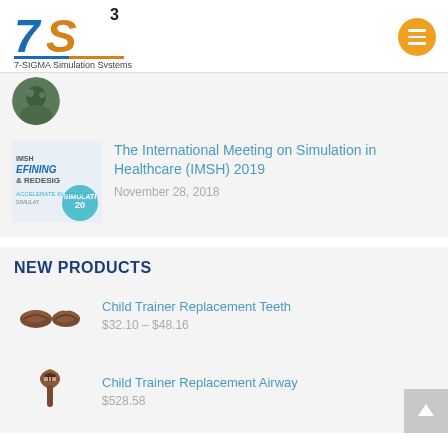[Figure (logo): 7S³ 7-SIGMA Simulation Systems logo with blue 7 and orange S]
[Figure (photo): Circular thumbnail photo, partially visible at top]
[Figure (photo): IMSH 2019 conference thumbnail image with text DEFINING & REDESIGN SIMULATE 20]
The International Meeting on Simulation in Healthcare (IMSH) 2019
November 28, 2018
NEW PRODUCTS
[Figure (photo): Child Trainer Replacement Teeth product photo - brown dental pieces]
Child Trainer Replacement Teeth
$32.10 – $48.16
[Figure (photo): Child Trainer Replacement Airway product photo - brown anatomical model]
Child Trainer Replacement Airway
$528.58